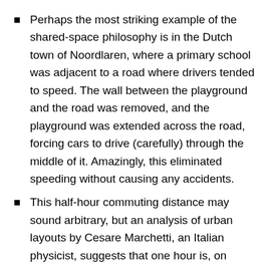Perhaps the most striking example of the shared-space philosophy is in the Dutch town of Noordlaren, where a primary school was adjacent to a road where drivers tended to speed. The wall between the playground and the road was removed, and the playground was extended across the road, forcing cars to drive (carefully) through the middle of it. Amazingly, this eliminated speeding without causing any accidents.
This half-hour commuting distance may sound arbitrary, but an analysis of urban layouts by Cesare Marchetti, an Italian physicist, suggests that one hour is, on average, how long people are willing to spend traveling to and from work each day and has been for centuries. (Some people's commutes are much shorter or longer; this is an average across a whole city's population.) Marchetti suggested that this time limit